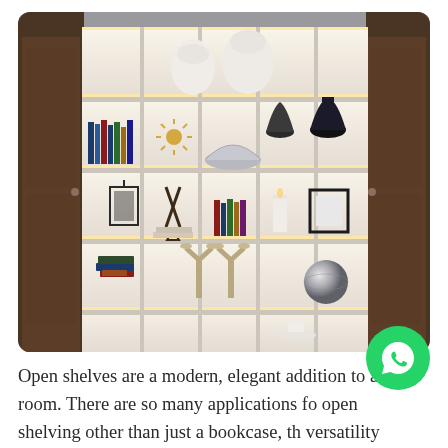[Figure (photo): A modern illuminated open bookshelf/display unit with LED strip lighting on each shelf, filled with decorative objects including vases, bowls, sculptures, books, candles, and decorative accessories. Two dark wood doors are visible on either side of the shelving unit against grey walls.]
Open shelves are a modern, elegant addition to any room. There are so many applications for open shelving other than just a bookcase, the versatility includes dividing spaces, to providing